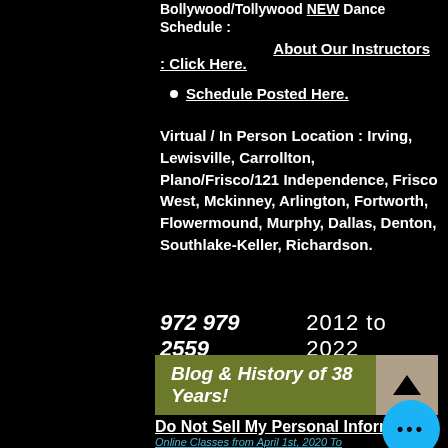Bollywood/Tollywood NEW Dance Schedule :
About Our Instructors
: Click Here.
Schedule Posted Here.
Virtual / In Person Location : Irving, Lewisville, Carrollton, Plano/Frisco/121 Independence, Frisco West, Mckinney, Arlington, Fortworth, Flowermound, Murphy, Dallas, Denton, Southlake-Keller, Richardson.
972 979 2559    2012 to 2022
Blog & History of 38 Years!
Do Not Sell My Personal Information
Online Classes from April 1st, 2020 To 2022 IN USA Only